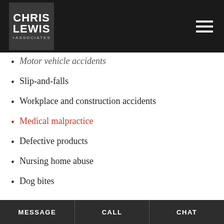Chris Lewis + Associates
Motor vehicle accidents
Slip-and-falls
Workplace and construction accidents
Medical malpractice
Defective products
Nursing home abuse
Dog bites
COMPENSATION YOU MAY BE ABLE TO RECOVER
The type of compensation you could receive depends on a host of factors, including the extent of your injuries, the nature of the
MESSAGE   CALL   CHAT